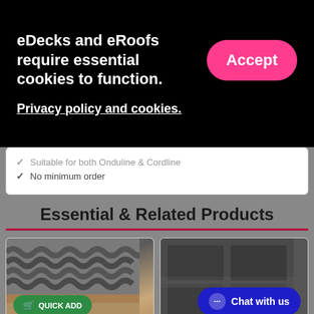eDecks and eRoofs require essential cookies to function.
Accept
Privacy policy and cookies.
Suitable for both Onduline & Cordline
No minimum order
Essential & Related Products
[Figure (photo): Corrugated roofing sheets installed on a roof structure with wooden beams visible, with a green Quick Add button overlay]
[Figure (photo): Dark grey flat roof tiles stacked, with a blue Chat with us button overlay]